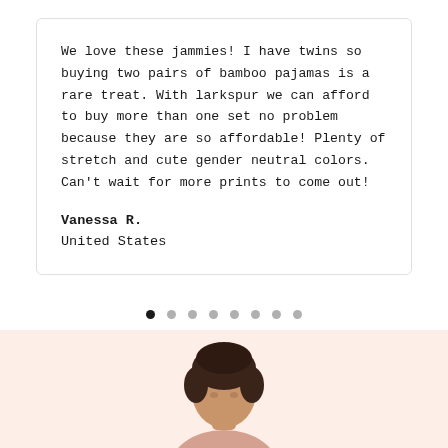We love these jammies! I have twins so buying two pairs of bamboo pajamas is a rare treat. With larkspur we can afford to buy more than one set no problem because they are so affordable! Plenty of stretch and cute gender neutral colors. Can't wait for more prints to come out!
Vanessa R.
United States
[Figure (other): Carousel navigation dots — 8 dots total, first dot is filled/active black, remaining 7 are light grey]
[Figure (photo): Partial photo of a person (child or baby) with dark hair, shown from approximately the shoulders up, on a pale pinkish-peach background. Only the top of the head is visible at the bottom of the page.]